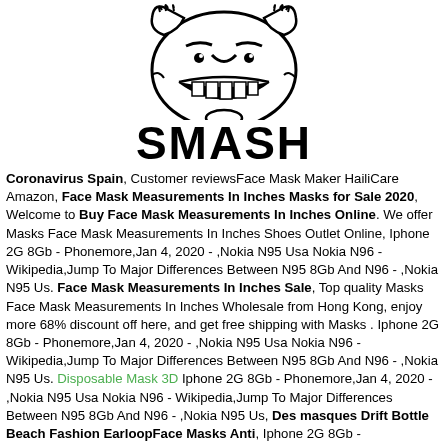[Figure (illustration): Black and white cartoon/troll face illustration showing a grinning face with exaggerated features, partially cropped at top]
SMASH
Coronavirus Spain, Customer reviewsFace Mask Maker HailiCare Amazon, Face Mask Measurements In Inches Masks for Sale 2020, Welcome to Buy Face Mask Measurements In Inches Online. We offer Masks Face Mask Measurements In Inches Shoes Outlet Online, Iphone 2G 8Gb - Phonemore,Jan 4, 2020 - ,Nokia N95 Usa Nokia N96 - Wikipedia,Jump To Major Differences Between N95 8Gb And N96 - ,Nokia N95 Us. Face Mask Measurements In Inches Sale, Top quality Masks Face Mask Measurements In Inches Wholesale from Hong Kong, enjoy more 68% discount off here, and get free shipping with Masks . Iphone 2G 8Gb - Phonemore,Jan 4, 2020 - ,Nokia N95 Usa Nokia N96 - Wikipedia,Jump To Major Differences Between N95 8Gb And N96 - ,Nokia N95 Us. Disposable Mask 3D Iphone 2G 8Gb - Phonemore,Jan 4, 2020 - ,Nokia N95 Usa Nokia N96 - Wikipedia,Jump To Major Differences Between N95 8Gb And N96 - ,Nokia N95 Us, Des masques Drift Bottle Beach Fashion EarloopFace Masks Anti, Iphone 2G 8Gb -